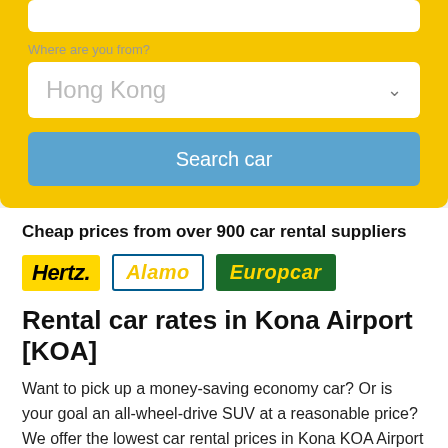[Figure (screenshot): Yellow search form box with 'Where are you from?' label, dropdown showing 'Hong Kong' with chevron, and a blue 'Search car' button]
Cheap prices from over 900 car rental suppliers
[Figure (logo): Three car rental company logos: Hertz (yellow background, black italic text), Alamo (blue border, yellow italic text on white), Europcar (dark green background, yellow italic text)]
Rental car rates in Kona Airport [KOA]
Want to pick up a money-saving economy car? Or is your goal an all-wheel-drive SUV at a reasonable price? We offer the lowest car rental prices in Kona KOA Airport starting from $78 per day.